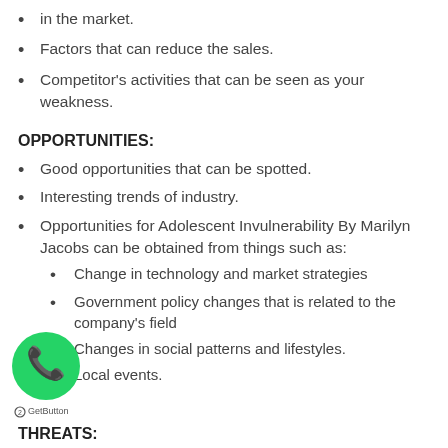in the market.
Factors that can reduce the sales.
Competitor's activities that can be seen as your weakness.
OPPORTUNITIES:
Good opportunities that can be spotted.
Interesting trends of industry.
Opportunities for Adolescent Invulnerability By Marilyn Jacobs can be obtained from things such as:
Change in technology and market strategies
Government policy changes that is related to the company's field
Changes in social patterns and lifestyles.
Local events.
THREATS: